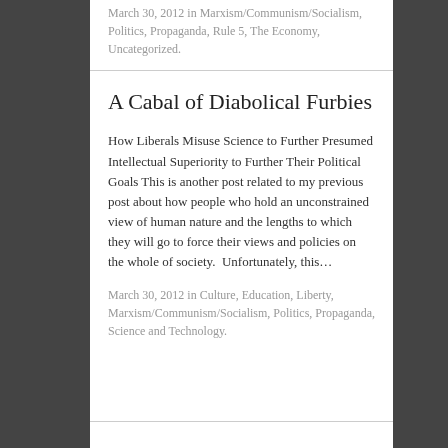March 30, 2012 in Marxism/Communism/Socialism, Politics, Propaganda, Rule 5, The Economy, Uncategorized.
A Cabal of Diabolical Furbies
How Liberals Misuse Science to Further Presumed Intellectual Superiority to Further Their Political Goals This is another post related to my previous post about how people who hold an unconstrained view of human nature and the lengths to which they will go to force their views and policies on the whole of society.  Unfortunately, this…
March 30, 2012 in Culture, Education, Liberty, Marxism/Communism/Socialism, Politics, Propaganda, Science and Technology.